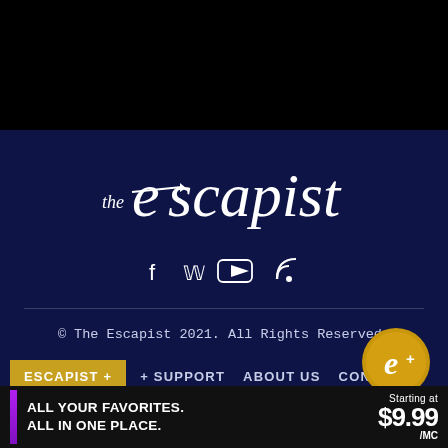[Figure (logo): The Escapist logo in white text on dark navy background]
[Figure (infographic): Social media icons: Facebook, Twitter, YouTube, RSS feed in white]
© The Escapist 2021. All Rights Reserved.
[Figure (logo): Escapist+ gold coin logo with stylized E+]
ESCAPIST +   + SUPPORT   ABOUT US   CONTACT
PRIVACY   PITCH   MERCH STORE   VIDEO ARCHIVE
[Figure (infographic): Advertisement banner: ALL YOUR FAVORITES. ALL IN ONE PLACE. Starting at $9.99/MC]